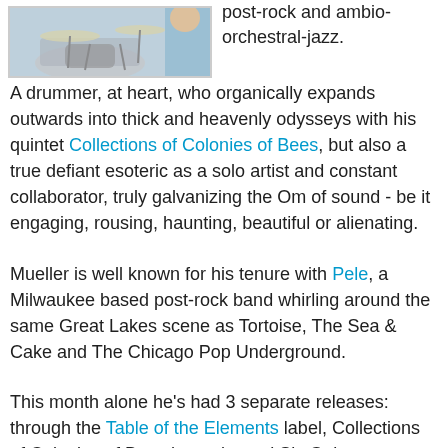[Figure (photo): Partial photo of a drummer with drum kit equipment visible, person wearing blue]
post-rock and ambio-orchestral-jazz. A drummer, at heart, who organically expands outwards into thick and heavenly odysseys with his quintet Collections of Colonies of Bees, but also a true defiant esoteric as a solo artist and constant collaborator, truly galvanizing the Om of sound - be it engaging, rousing, haunting, beautiful or alienating.
Mueller is well known for his tenure with Pele, a Milwaukee based post-rock band whirling around the same Great Lakes scene as Tortoise, The Sea & Cake and The Chicago Pop Underground.
This month alone he's had 3 separate releases: through the Table of the Elements label, Collections of Colonies of Bees has released Six Guitars, an enchanting and swirling ballet of chiming strings and humming reverb that builds and churns and recedes again, meditative and musing. On his